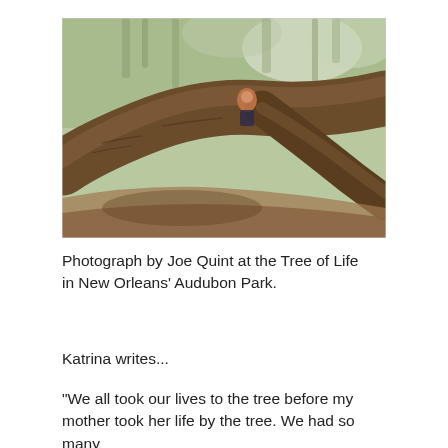[Figure (photo): Close-up photograph of a large tree trunk with massive spreading branches. A person is visible climbing or resting in the branches. The background shows green foliage and trees. The image is somewhat blurry/soft focus.]
Photograph by Joe Quint at the Tree of Life in New Orleans' Audubon Park.
Katrina writes...
"We all took our lives to the tree before my mother took her life by the tree. We had so many